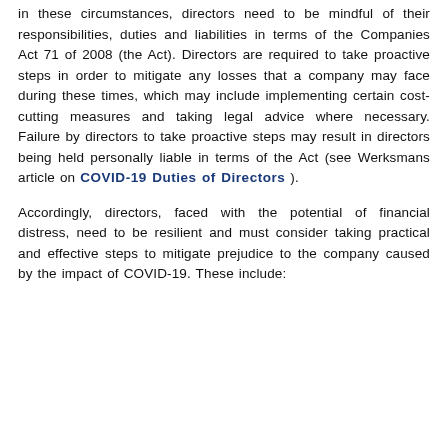in these circumstances, directors need to be mindful of their responsibilities, duties and liabilities in terms of the Companies Act 71 of 2008 (the Act). Directors are required to take proactive steps in order to mitigate any losses that a company may face during these times, which may include implementing certain cost-cutting measures and taking legal advice where necessary. Failure by directors to take proactive steps may result in directors being held personally liable in terms of the Act (see Werksmans article on COVID-19 Duties of Directors ).
Accordingly, directors, faced with the potential of financial distress, need to be resilient and must consider taking practical and effective steps to mitigate prejudice to the company caused by the impact of COVID-19. These include: